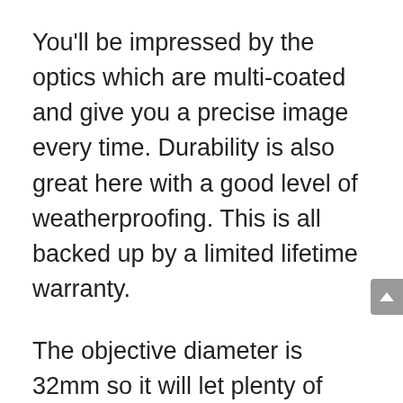You'll be impressed by the optics which are multi-coated and give you a precise image every time. Durability is also great here with a good level of weatherproofing. This is all backed up by a limited lifetime warranty.
The objective diameter is 32mm so it will let plenty of light in for a clear view in lower light conditions. The magnification is also 4x, and that should be enough for almost all situations, and with an eye relief of 14 inches, you're going to clearly